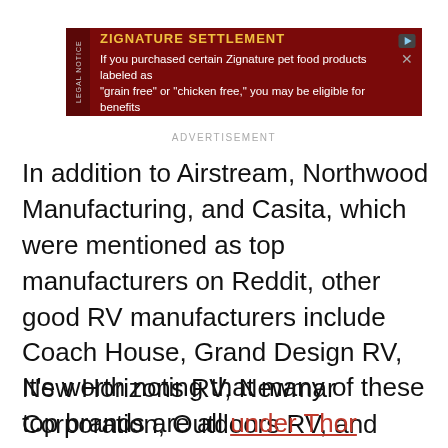[Figure (other): Advertisement banner for Zignature Settlement legal notice. Dark red background with yellow bold title 'ZIGNATURE SETTLEMENT' and white body text about purchasing pet food products.]
ADVERTISEMENT
In addition to Airstream, Northwood Manufacturing, and Casita, which were mentioned as top manufacturers on Reddit, other good RV manufacturers include Coach House, Grand Design RV, New Horizons RV, Newmar Corporation, Outdoors RV, and Winnebago.
It's worth noting that many of these top brands are all under Thor Industries. The company